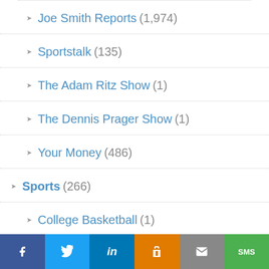Joe Smith Reports (1,974)
Sportstalk (135)
The Adam Ritz Show (1)
The Dennis Prager Show (1)
Your Money (486)
Sports (266)
College Basketball (1)
College Football (2)